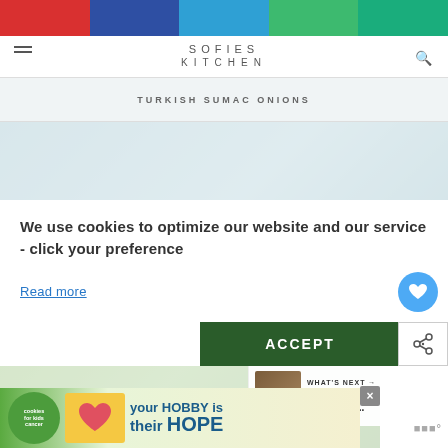[Figure (screenshot): Colored bar with five sections: red, blue, cyan, green, teal]
SOFIES KITCHEN
TURKISH SUMAC ONIONS
[Figure (photo): Hero image strip showing blurred kitchen/food background]
We use cookies to optimize our website and our service - click your preference
Read more
[Figure (screenshot): Accept button in dark green with share button and heart button]
[Figure (photo): Food image showing shredded vegetable dish]
WHAT'S NEXT → Chocolate Hedgehog...
[Figure (infographic): Advertisement banner: cookies for kids cancer - your HOBBY is their HOPE]